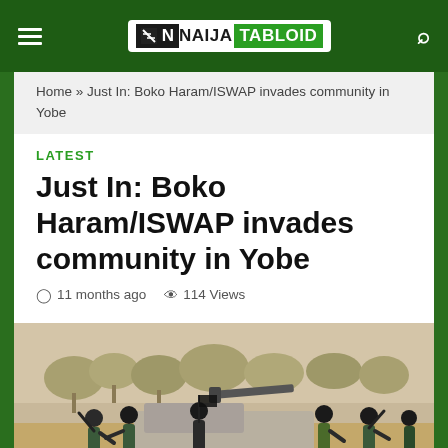NAIJA TABLOID
Home » Just In: Boko Haram/ISWAP invades community in Yobe
LATEST
Just In: Boko Haram/ISWAP invades community in Yobe
11 months ago   114 Views
[Figure (photo): Armed militants in military-style clothing standing around a vehicle mounted with a heavy weapon, outdoors with trees in background]